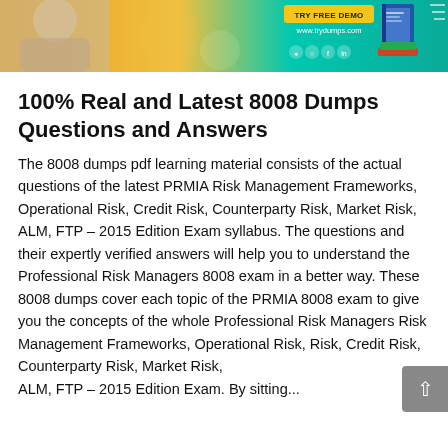[Figure (screenshot): Banner advertisement for tryDumps.com with teal/orange gradient background, 'Try Free Demo' badge, URL www.trydumps.com, social media icons, and decorative book/person imagery]
100% Real and Latest 8008 Dumps Questions and Answers
The 8008 dumps pdf learning material consists of the actual questions of the latest PRMIA Risk Management Frameworks, Operational Risk, Credit Risk, Counterparty Risk, Market Risk, ALM, FTP – 2015 Edition Exam syllabus. The questions and their expertly verified answers will help you to understand the Professional Risk Managers 8008 exam in a better way. These 8008 dumps cover each topic of the PRMIA 8008 exam to give you the concepts of the whole Professional Risk Managers Risk Management Frameworks, Operational Risk, Credit Risk, Counterparty Risk, Market Risk, ALM, FTP – 2015 Edition Exam. By sitting...